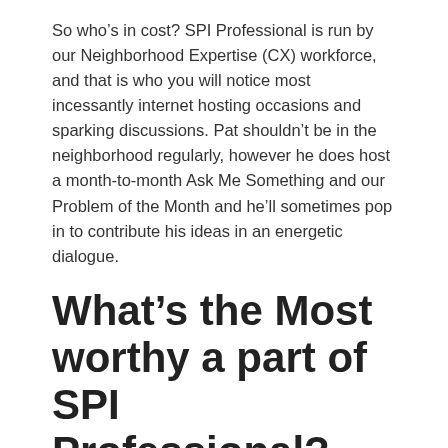So who's in cost? SPI Professional is run by our Neighborhood Expertise (CX) workforce, and that is who you will notice most incessantly internet hosting occasions and sparking discussions. Pat shouldn't be in the neighborhood regularly, however he does host a month-to-month Ask Me Something and our Problem of the Month and he'll sometimes pop in to contribute his ideas in an energetic dialogue.
What's the Most worthy a part of SPI Professional?
The members! SPI Professional is a collective of consultants on quite a lot of subjects. You'll be able